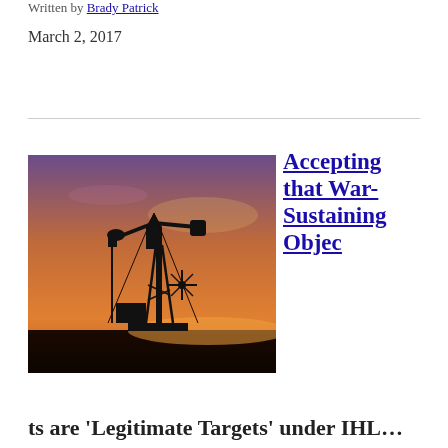Written by Brady Patrick
March 2, 2017
[Figure (photo): Oil pump jack silhouetted against a purple and orange sunset sky]
Accepting that War-Sustaining Objects are 'Legitimate Targets' under IHL…